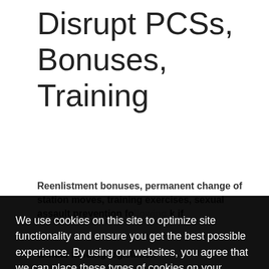Disrupt PCSs, Bonuses, Training
Reenlistment bonuses, permanent change of station moves, training exercises, sexual assault prevention funding, and more could all be at risk if
We use cookies on this site to optimize site functionality and ensure you get the best possible experience. By using our websites, you agree that we can place these types of cookies on your device. Learn more
Got it!